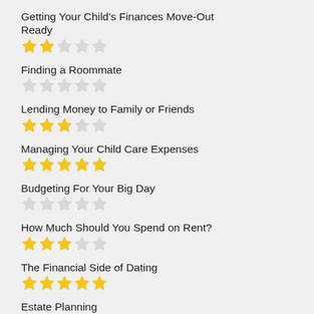Getting Your Child's Finances Move-Out Ready
Finding a Roommate
Lending Money to Family or Friends
Managing Your Child Care Expenses
Budgeting For Your Big Day
How Much Should You Spend on Rent?
The Financial Side of Dating
Estate Planning